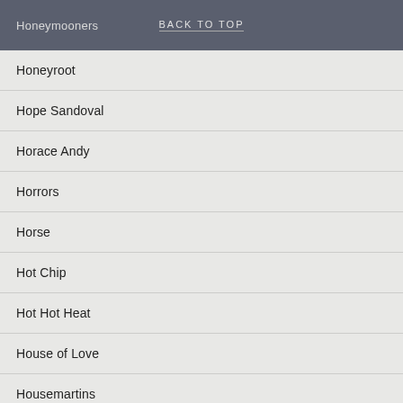Honeymooners | BACK TO TOP
Honeyroot
Hope Sandoval
Horace Andy
Horrors
Horse
Hot Chip
Hot Hot Heat
House of Love
Housemartins
Howard Devoto
Hudson Mohawke
Hue and Cry